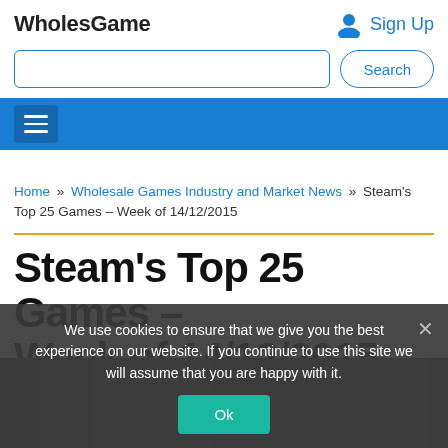WholesGame
Sign Up
Home » Wholesale Games Industry and Market News » Steam's Top 25 Games – Week of 14/12/2015
Steam's Top 25 Games – Week of 14/12/2015
We use cookies to ensure that we give you the best experience on our website. If you continue to use this site we will assume that you are happy with it.
[Figure (screenshot): Cookie consent banner with Ok button overlay on a gaming website screenshot]